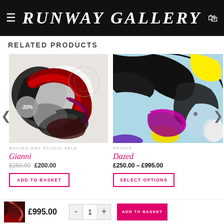RUNWAY GALLERY
RELATED PRODUCTS
[Figure (photo): Abstract fluid art painting with red, black, and white swirls with -20% discount badge]
BOXING DAY STUDIO SALE
Gianni
£250.00  £200.00
ADD TO BASKET
[Figure (photo): Abstract fluid art painting with black, light blue, yellow, and purple swirls]
PRINTS
Dazed
£250.00 – £995.00
SELECT OPTIONS
£995.00  -  1  +  ADD TO BASKET